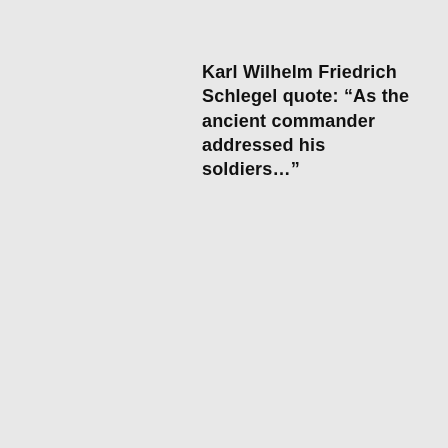Karl Wilhelm Friedrich Schlegel quote: “As the ancient commander addressed his soldiers…”